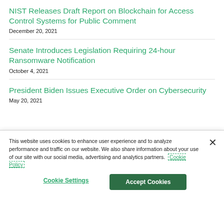NIST Releases Draft Report on Blockchain for Access Control Systems for Public Comment
December 20, 2021
Senate Introduces Legislation Requiring 24-hour Ransomware Notification
October 4, 2021
President Biden Issues Executive Order on Cybersecurity
May 20, 2021
This website uses cookies to enhance user experience and to analyze performance and traffic on our website. We also share information about your use of our site with our social media, advertising and analytics partners. Cookie Policy
Cookie Settings
Accept Cookies